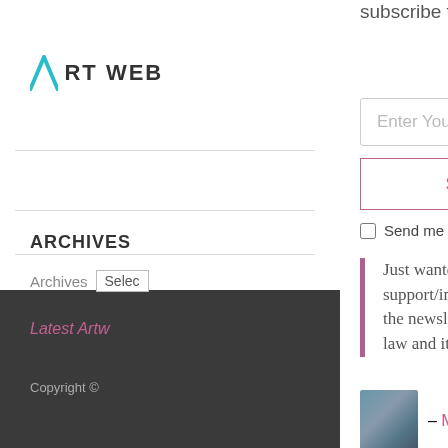[Figure (logo): Art Web logo with teal geometric A icon and bold text ART WEB]
ARCHIVES
Archives [Select]
Latest Artw...
Copyright ©
subscribe to The Artists Newsletter.
Enter Your Email
SUBSCRIBE
Send me Free Art & Money Guide
Just wanted to say what a fantastic support/info system you run. I've just read the newsletter regarding image copyright law and it's very informative... thanks!"
– Michele Wallington